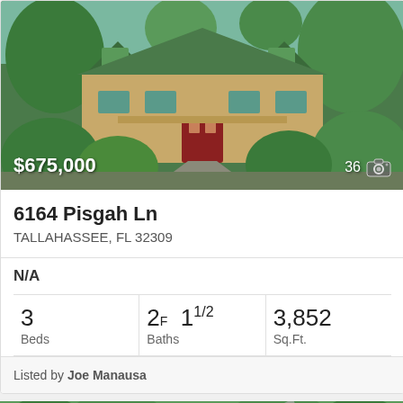[Figure (photo): Exterior photo of green house with lush tropical vegetation, circular driveway, red front door, multiple dormer windows with green trim. Price overlay: $675,000. Photo count: 36.]
6164 Pisgah Ln
TALLAHASSEE, FL 32309
N/A
| Beds | Baths | Sq.Ft. |
| --- | --- | --- |
| 3 | 2F  1 1/2 | 3,852 |
Listed by Joe Manausa
[Figure (photo): Aerial photo of property surrounded by dense green trees, driveway visible. Accessibility icon badge on lower left, chat bubble icon on lower right.]